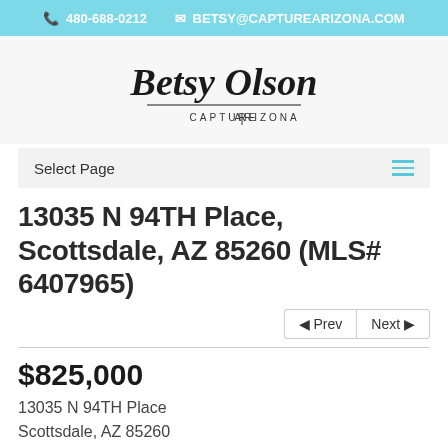📞 480-688-0212  ✉ BETSY@CAPTUREARIZONA.COM
[Figure (logo): Betsy Olson Capture Arizona handwritten script logo]
Select Page
13035 N 94TH Place, Scottsdale, AZ 85260 (MLS# 6407965)
$825,000
13035 N 94TH Place
scottsdale, AZ 85260
MLS# 6407965